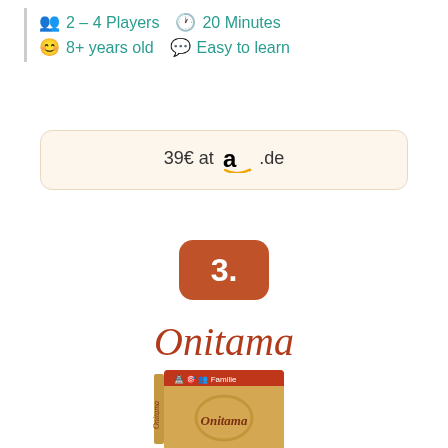2 – 4 Players  20 Minutes  8+ years old  Easy to learn
39€ at a.de
3.
Onitama
[Figure (photo): Photo of Onitama board game box, tall rectangular box with Japanese-themed artwork showing a pagoda and the Onitama logo]